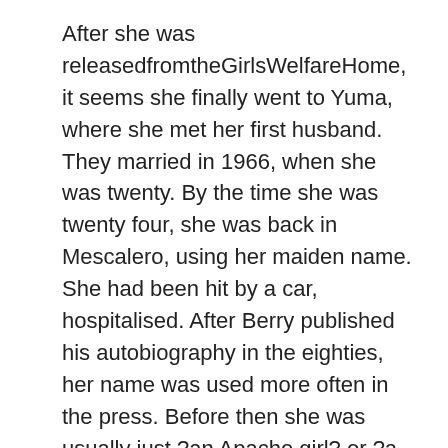After she was releasedfromtheGirlsWelfareHome, it seems she finally went to Yuma, where she met her first husband. They married in 1966, when she was twenty. By the time she was twenty four, she was back in Mescalero, using her maiden name. She had been hit by a car, hospitalised. After Berry published his autobiography in the eighties, her name was used more often in the press. Before then she was usually just ?an Apache girl? or ?a fourteen year old,? if she was mentioned at all. Now she had a name. Often it was written as ?Escalante,? the misspellingBerryusedinhisautobiography.
In the nineties, Escalanti married again. Her husband died in 1999. She fell in love with